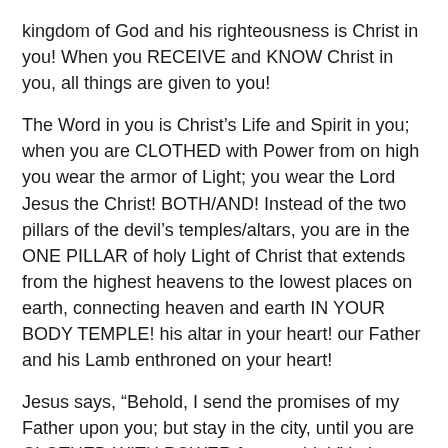kingdom of God and his righteousness is Christ in you! When you RECEIVE and KNOW Christ in you, all things are given to you!
The Word in you is Christ’s Life and Spirit in you; when you are CLOTHED with Power from on high you wear the armor of Light; you wear the Lord Jesus the Christ! BOTH/AND! Instead of the two pillars of the devil’s temples/altars, you are in the ONE PILLAR of holy Light of Christ that extends from the highest heavens to the lowest places on earth, connecting heaven and earth IN YOUR BODY TEMPLE! his altar in your heart! our Father and his Lamb enthroned on your heart!
Jesus says, “Behold, I send the promises of my Father upon you; but stay in the city, until you are CLOTHED WITH POWER from on high” Luke 24:49